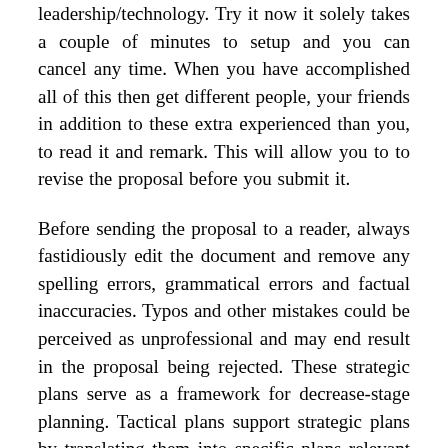leadership/technology. Try it now it solely takes a couple of minutes to setup and you can cancel any time. When you have accomplished all of this then get different people, your friends in addition to these extra experienced than you, to read it and remark. This will allow you to to revise the proposal before you submit it.
Before sending the proposal to a reader, always fastidiously edit the document and remove any spelling errors, grammatical errors and factual inaccuracies. Typos and other mistakes could be perceived as unprofessional and may end result in the proposal being rejected. These strategic plans serve as a framework for decrease-stage planning. Tactical plans support strategic plans by translating them into specific plans relevant to a definite area of the organization. , is another course of action, which could be applied if and when an original plan fails to